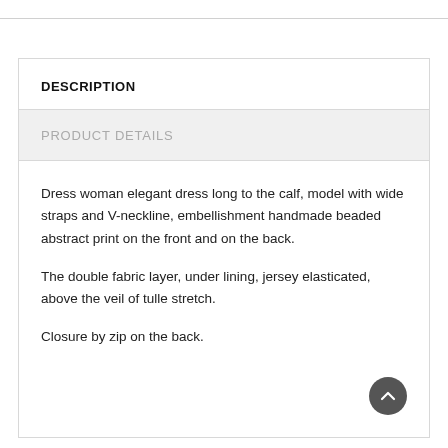DESCRIPTION
PRODUCT DETAILS
Dress woman elegant dress long to the calf, model with wide straps and V-neckline, embellishment handmade beaded abstract print on the front and on the back.
The double fabric layer, under lining, jersey elasticated, above the veil of tulle stretch.
Closure by zip on the back.